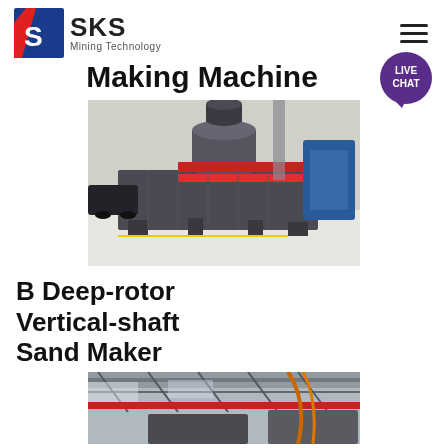SKS Mining Technology
Making Machine
[Figure (photo): Industrial sand-making machine (vertical shaft impact crusher) in dark grey metal with red accent bands, photographed in a factory/warehouse setting with cars visible in background.]
B Deep-rotor Vertical-shaft Sand Maker
[Figure (photo): Interior of a manufacturing plant or factory showing overhead cranes, industrial equipment, and red structural beams.]